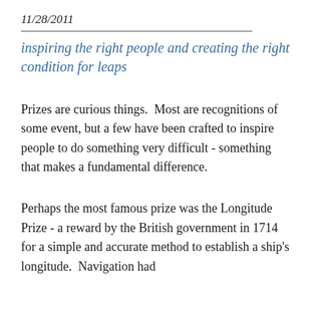11/28/2011
inspiring the right people and creating the right condition for leaps
Prizes are curious things.  Most are recognitions of some event, but a few have been crafted to inspire people to do something very difficult - something that makes a fundamental difference.
Perhaps the most famous prize was the Longitude Prize - a reward by the British government in 1714 for a simple and accurate method to establish a ship's longitude.  Navigation had